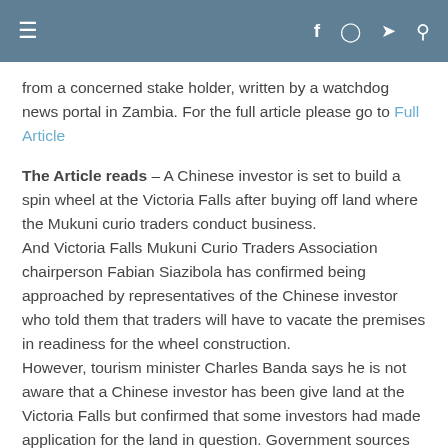≡  f  ◻  🐦  🔍
from a concerned stake holder, written by a watchdog news portal in Zambia. For the full article please go to Full Article
The Article reads – A Chinese investor is set to build a spin wheel at the Victoria Falls after buying off land where the Mukuni curio traders conduct business.
And Victoria Falls Mukuni Curio Traders Association chairperson Fabian Siazibola has confirmed being approached by representatives of the Chinese investor who told them that traders will have to vacate the premises in readiness for the wheel construction.
However, tourism minister Charles Banda says he is not aware that a Chinese investor has been give land at the Victoria Falls but confirmed that some investors had made application for the land in question. Government sources have revealed that part of the Victoria Falls would be run by the Chinese who will put up a play park similar to Disneyland.
The Chinese investor has since been given permission to remove traders from the site to pave way for construction works.